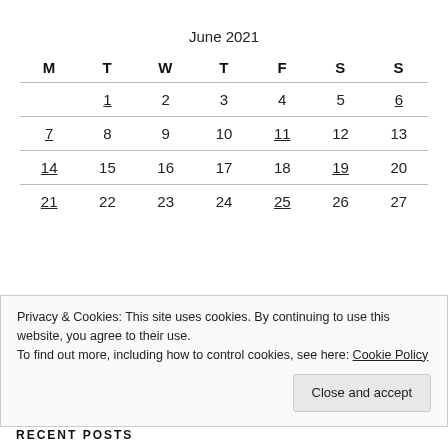| M | T | W | T | F | S | S |
| --- | --- | --- | --- | --- | --- | --- |
|  | 1 | 2 | 3 | 4 | 5 | 6 |
| 7 | 8 | 9 | 10 | 11 | 12 | 13 |
| 14 | 15 | 16 | 17 | 18 | 19 | 20 |
| 21 | 22 | 23 | 24 | 25 | 26 | 27 |
Privacy & Cookies: This site uses cookies. By continuing to use this website, you agree to their use.
To find out more, including how to control cookies, see here: Cookie Policy
RECENT POSTS